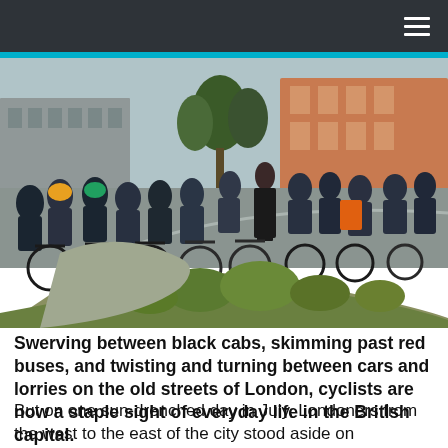[Figure (photo): A large group of cyclists and people with bikes gathered on a city street, with red brick buildings in the background. Trees and a flower bed are visible in the foreground. Some riders wear helmets and cycling gear in bright colors.]
Swerving between black cabs, skimming past red buses, and twisting and turning between cars and lorries on the old streets of London, cyclists are now a staple sight of everyday life in the British capital.
But on one sun-drenched day in July, Londoners from the west to the east of the city stood aside on pavements